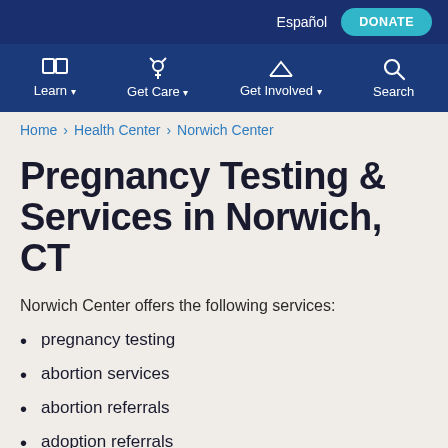Español | DONATE
Learn | Get Care | Get Involved | Search
Home › Health Center › Norwich Center
Pregnancy Testing & Services in Norwich, CT
Norwich Center offers the following services:
pregnancy testing
abortion services
abortion referrals
adoption referrals